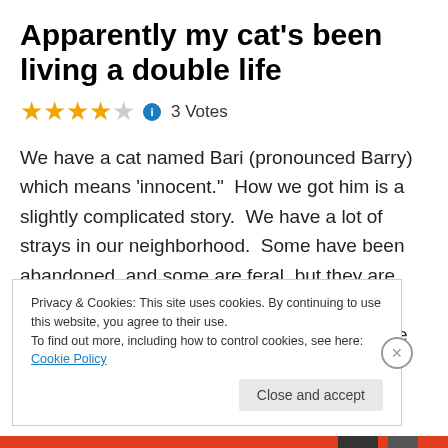Apparently my cat’s been living a double life
★★★★☆ 3 Votes
We have a cat named Bari (pronounced Barry) which means ‘innocent.”  How we got him is a slightly complicated story.  We have a lot of strays in our neighborhood.  Some have been abandoned, and some are feral, but they are relatively friendly so we feed them.
Privacy & Cookies: This site uses cookies. By continuing to use this website, you agree to their use.
To find out more, including how to control cookies, see here: Cookie Policy
Close and accept